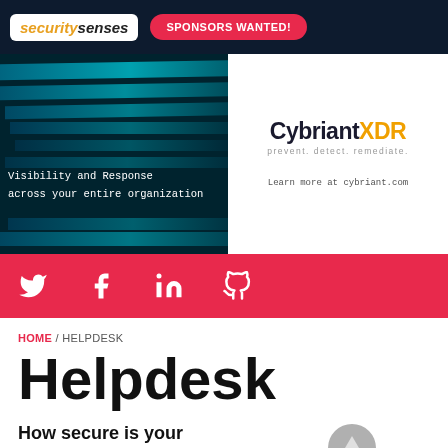securitysenses | SPONSORS WANTED!
[Figure (infographic): CybriantXDR advertisement banner with dark teal striped background on left, text 'Visibility and Response across your entire organization', and CybriantXDR logo on right with tagline 'prevent. detect. remediate.' and URL 'Learn more at cybriant.com']
[Figure (infographic): Red social media bar with Twitter, Facebook, LinkedIn, and GitHub icons in white]
HOME / HELPDESK
Helpdesk
How secure is your Zendesk instance? Find out with
[Figure (logo): Nightfall logo with purple mountain icon and gray triangle, 'Nightfall' text in black]